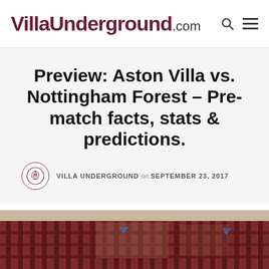VillaUnderground.com
Preview: Aston Villa vs. Nottingham Forest – Pre-match facts, stats & predictions.
VILLA UNDERGROUND on SEPTEMBER 23, 2017
[Figure (photo): Stadium gates/entrance, exterior view with maroon metalwork bars and windows visible]